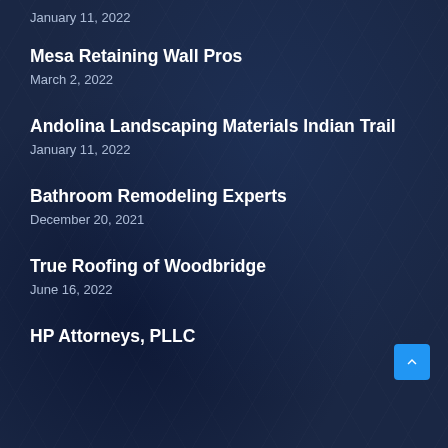January 11, 2022
Mesa Retaining Wall Pros
March 2, 2022
Andolina Landscaping Materials Indian Trail
January 11, 2022
Bathroom Remodeling Experts
December 20, 2021
True Roofing of Woodbridge
June 16, 2022
HP Attorneys, PLLC